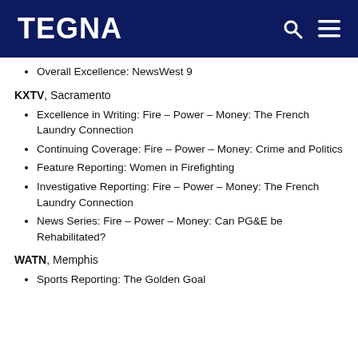TEGNA
Overall Excellence: NewsWest 9
KXTV, Sacramento
Excellence in Writing: Fire – Power – Money: The French Laundry Connection
Continuing Coverage: Fire – Power – Money: Crime and Politics
Feature Reporting: Women in Firefighting
Investigative Reporting: Fire – Power – Money: The French Laundry Connection
News Series: Fire – Power – Money: Can PG&E be Rehabilitated?
WATN, Memphis
Sports Reporting: The Golden Goal